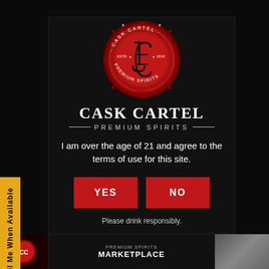[Figure (logo): Cask Cartel red wax seal logo with interlocked JC letters and text CASK CARTEL ESTD 2018 PREMIUM SPIRITS around the circumference]
CASK CARTEL
PREMIUM SPIRITS
I am over the age of 21 and agree to the terms of use for this site.
YES
NO
Please drink responsibly.
Email Me When Available
PREMIUM SPIRITS MARKETPLACE